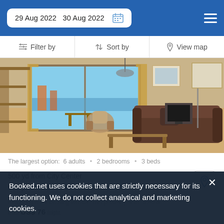29 Aug 2022  30 Aug 2022
Filter by  |  Sort by  |  View map
[Figure (photo): Interior photo of an apartment living room with a brown sofa, coffee table, dining area, balcony with sea view, and wall art.]
The largest option:  6 adults  •  2 bedrooms  •  3 beds
500 yd from City Center
600 yd from Levante beach
Featuring a sunbathing terrace, this property is situated a...
Booked.net uses cookies that are strictly necessary for its functioning. We do not collect analytical and marketing cookies.
from  US$ 76 /night